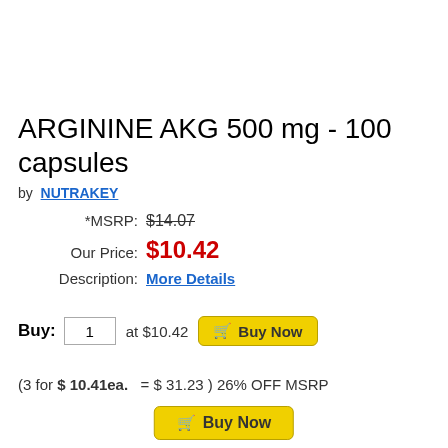ARGININE AKG 500 mg - 100 capsules
by NUTRAKEY
*MSRP: $14.07
Our Price: $10.42
Description: More Details
Buy: 1 at $10.42 Buy Now
(3 for $ 10.41ea.   = $ 31.23 ) 26% OFF MSRP
Buy Now